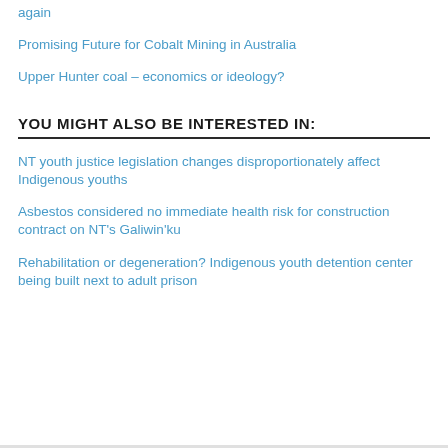again
Promising Future for Cobalt Mining in Australia
Upper Hunter coal – economics or ideology?
YOU MIGHT ALSO BE INTERESTED IN:
NT youth justice legislation changes disproportionately affect Indigenous youths
Asbestos considered no immediate health risk for construction contract on NT's Galiwin'ku
Rehabilitation or degeneration? Indigenous youth detention center being built next to adult prison